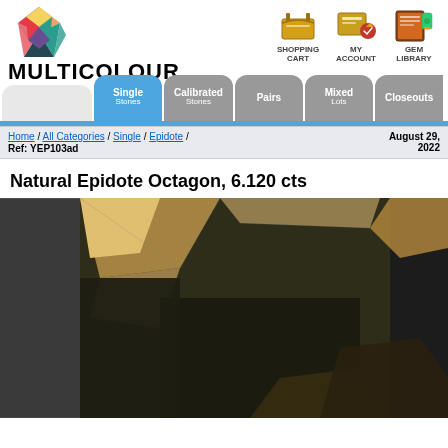[Figure (logo): Multicolour gemstone retailer logo with colorful diamond shape and bold MULTICOLOUR text]
[Figure (infographic): Navigation icons: Shopping Cart, My Account, Gem Library]
[Figure (infographic): Navigation tabs: Single Stones (active, blue), Calibrated Stones, Pairs, Mixed Lots, Closeouts]
Home / All Categories / Single / Epidote / Ref: YEP103ad  August 29, 2022
Natural Epidote Octagon, 6.120 cts
[Figure (photo): Close-up photo of a dark olive-green epidote octagon gemstone showing faceted top with golden-brown reflections]